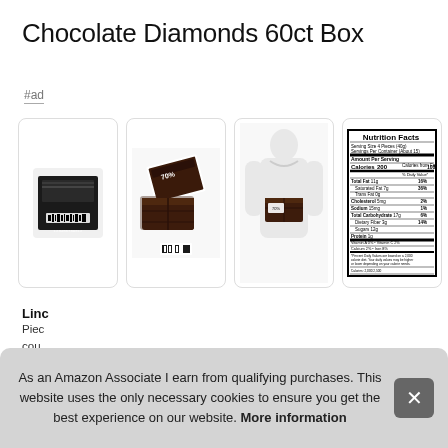Chocolate Diamonds 60ct Box
#ad
[Figure (photo): Four product images of Chocolate Diamonds 60ct Box: 1) Individual chocolate packet with barcode, 2) Two dark chocolate pieces with 70% label, 3) Person wearing/carrying a chocolate bar, 4) Nutrition Facts label]
Linc
Piec
cou
with
As an Amazon Associate I earn from qualifying purchases. This website uses the only necessary cookies to ensure you get the best experience on our website. More information